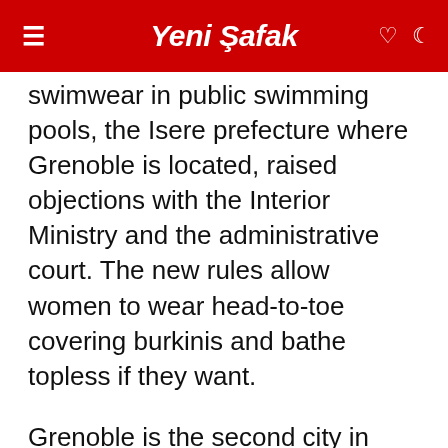Yeni Şafak
swimwear in public swimming pools, the Isere prefecture where Grenoble is located, raised objections with the Interior Ministry and the administrative court. The new rules allow women to wear head-to-toe covering burkinis and bathe topless if they want.
Grenoble is the second city in France after Renne to allow the wearing of burkini in municipal swimming pools.
The approved regulations that were first proposed by the city's ecologist mayor Erick Piolle have stirred a political storm, enraging far-right parties and certain public authorities,